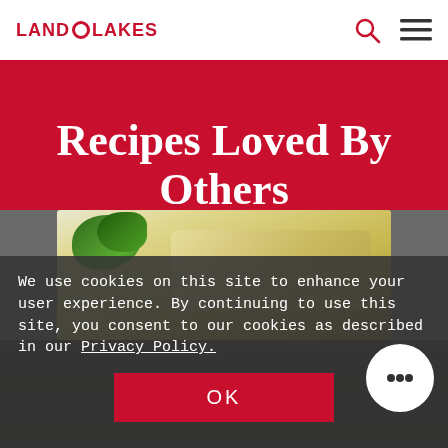LAND O LAKES
Recipes Loved By Others
[Figure (photo): Food photo showing a pasta or mac and cheese dish with green basil garnish on a plate]
We use cookies on this site to enhance your user experience. By continuing to use this site, you consent to our cookies as described in our Privacy Policy.
OK